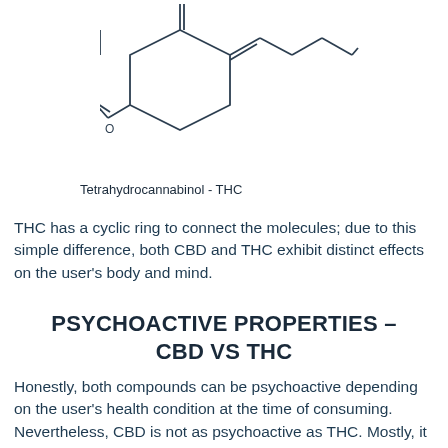[Figure (schematic): Chemical structural diagram of Tetrahydrocannabinol (THC) showing cyclic ring and molecular chain with oxygen linkage]
Tetrahydrocannabinol - THC
THC has a cyclic ring to connect the molecules; due to this simple difference, both CBD and THC exhibit distinct effects on the user’s body and mind.
PSYCHOACTIVE PROPERTIES – CBD VS THC
Honestly, both compounds can be psychoactive depending on the user’s health condition at the time of consuming. Nevertheless, CBD is not as psychoactive as THC. Mostly, it interacts with the receptors that are responsible for the pain-relieving and stress-relieving actions. So, CBD will never